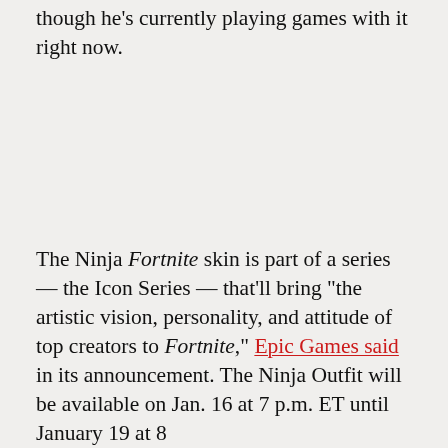though he's currently playing games with it right now.
The Ninja Fortnite skin is part of a series — the Icon Series — that'll bring "the artistic vision, personality, and attitude of top creators to Fortnite," Epic Games said in its announcement. The Ninja Outfit will be available on Jan. 16 at 7 p.m. ET until January 19 at 8